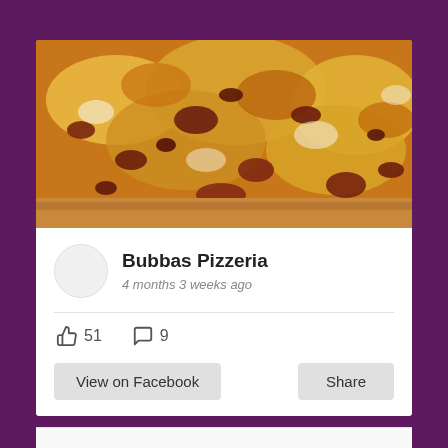[Figure (photo): Close-up photo of a pizza with melted cheese, meat toppings, and golden-brown crust]
Bubbas Pizzeria
4 months 3 weeks ago
51 likes, 9 comments
View on Facebook
Share